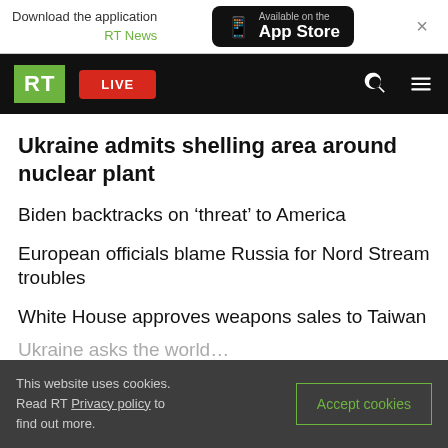Download the application RT News | Available on the App Store
RT | LIVE
Ukraine admits shelling area around nuclear plant
Biden backtracks on ‘threat’ to America
European officials blame Russia for Nord Stream troubles
White House approves weapons sales to Taiwan
This website uses cookies. Read RT Privacy policy to find out more.